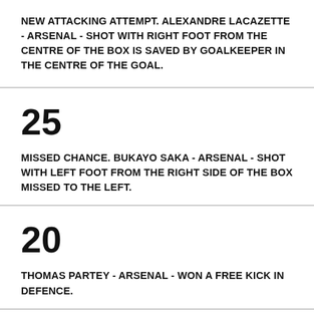NEW ATTACKING ATTEMPT. ALEXANDRE LACAZETTE - ARSENAL - SHOT WITH RIGHT FOOT FROM THE CENTRE OF THE BOX IS SAVED BY GOALKEEPER IN THE CENTRE OF THE GOAL.
25
MISSED CHANCE. BUKAYO SAKA - ARSENAL - SHOT WITH LEFT FOOT FROM THE RIGHT SIDE OF THE BOX MISSED TO THE LEFT.
20
THOMAS PARTEY - ARSENAL - WON A FREE KICK IN DEFENCE.